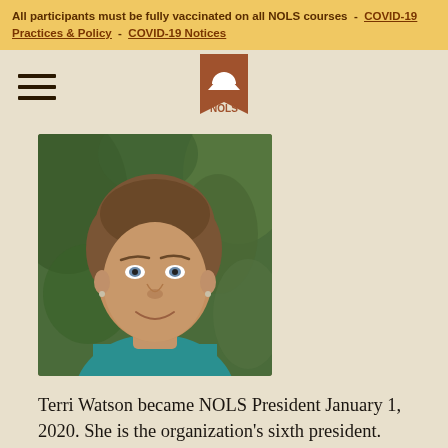All participants must be fully vaccinated on all NOLS courses  -  COVID-19 Practices & Policy  -  COVID-19 Notices
[Figure (logo): NOLS logo: brown pennant/bookmark shape with white mountain and half-circle sun icon, with NOLS text below in brown]
[Figure (photo): Headshot of Terri Watson, a woman with short brown hair, smiling, wearing a teal shirt, with green foliage in the background]
Terri Watson became NOLS President January 1, 2020. She is the organization's sixth president.